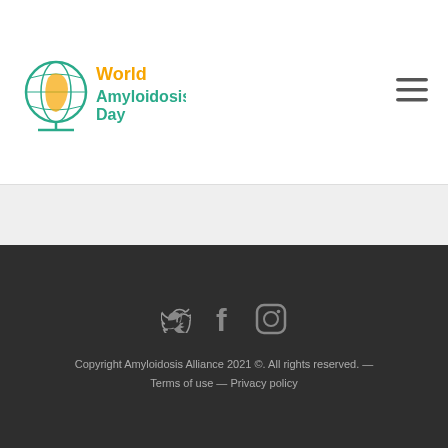[Figure (logo): World Amyloidosis Day logo with globe icon in teal/orange and text 'World Amyloidosis Day' in orange and teal]
[Figure (other): Hamburger menu icon (three horizontal lines)]
[Figure (other): Social media icons: Twitter bird, Facebook f, Instagram camera]
Copyright Amyloidosis Alliance 2021 ©. All rights reserved. — Terms of use — Privacy policy